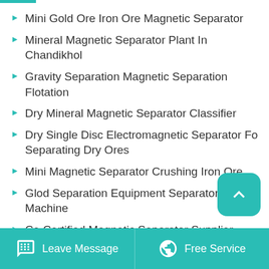Mini Gold Ore Iron Ore Magnetic Separator
Mineral Magnetic Separator Plant In Chandikhol
Gravity Separation Magnetic Separation Flotation
Dry Mineral Magnetic Separator Classifier
Dry Single Disc Electromagnetic Separator For Separating Dry Ores
Mini Magnetic Separator Crushing Iron Ore
Glod Separation Equipment Separator Machine
Ce Certified Magnetic Separator Supplier
Attractive Gold Separating Machine Mining
Leave Message | Free Service